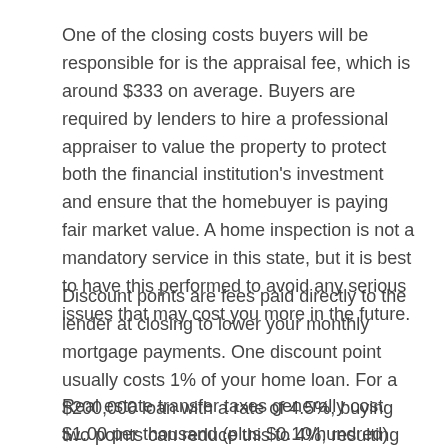One of the closing costs buyers will be responsible for is the appraisal fee, which is around $333 on average. Buyers are required by lenders to hire a professional appraiser to value the property to protect both the financial institution's investment and ensure that the homebuyer is paying fair market value. A home inspection is not a mandatory service in this state, but it is best to have this performed to avoid any serious issues that may cost you more in the future.
Discount points are fees paid directly to the lender at closing to lower your monthly mortgage payments. One discount point usually costs 1% of your home loan. For a $200,000 loan with a rate of 4.5%, buying two points can reduce this to 4%, resulting in a monthly savings of $58.54. You will also be required to pay your lender a fee to process your loan application.
Real estate transfer taxes generally cost $1.00 per thousand (plus $0.10/hundred) based upon the value of the property. Although these are usually the responsibility of